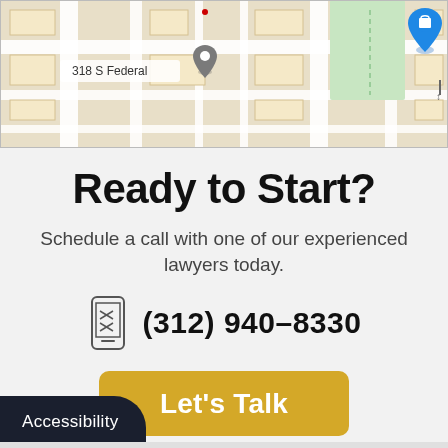[Figure (map): Google Maps screenshot showing 318 S Federal location with map pins]
Ready to Start?
Schedule a call with one of our experienced lawyers today.
(312) 940-8330
Let's Talk
Accessibility